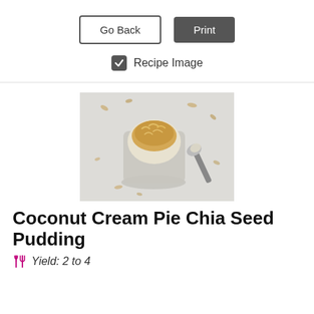[Figure (screenshot): Go Back and Print buttons UI]
Recipe Image (checkbox checked)
[Figure (photo): Overhead photo of a glass jar of coconut cream pie chia seed pudding topped with toasted coconut flakes, with a spoon beside it on a white surface scattered with nuts.]
Coconut Cream Pie Chia Seed Pudding
Yield: 2 to 4